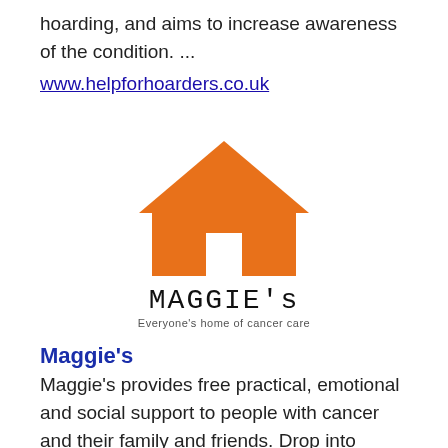hoarding, and aims to increase awareness of the condition. ...
www.helpforhoarders.co.uk
[Figure (logo): Maggie's logo: orange house shape above the text 'MAGGIE's' and tagline 'Everyone's home of cancer care']
Maggie's
Maggie's provides free practical, emotional and social support to people with cancer and their family and friends. Drop into Maggie's for practical, emotional and social support from their professional staff at any time Monday to Friday, from 9am to 5pm.